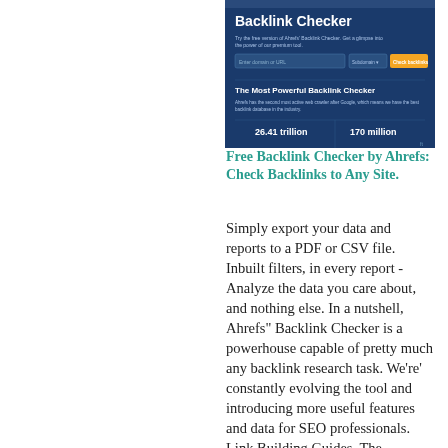[Figure (screenshot): Screenshot of Ahrefs Backlink Checker webpage showing a dark blue UI with title 'Backlink Checker', subtitle text, input field, submit button, and statistics showing '26.41 trillion' and '170 million']
Free Backlink Checker by Ahrefs: Check Backlinks to Any Site.
Simply export your data and reports to a PDF or CSV file. Inbuilt filters, in every report - Analyze the data you care about, and nothing else. In a nutshell, Ahrefs" Backlink Checker is a powerhouse capable of pretty much any backlink research task. We're' constantly evolving the tool and introducing more useful features and data for SEO professionals. Link Building Guides. The Beginners Guide to Link Building. Everything you need to know about link building for SEO. What it is, how it works